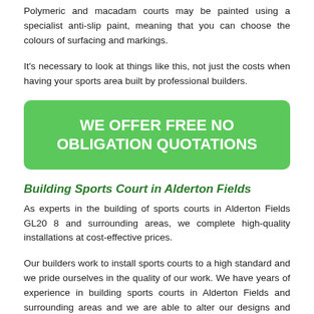Polymeric and macadam courts may be painted using a specialist anti-slip paint, meaning that you can choose the colours of surfacing and markings.
It's necessary to look at things like this, not just the costs when having your sports area built by professional builders.
[Figure (other): Green rounded rectangle button with white bold text: WE OFFER FREE NO OBLIGATION QUOTATIONS]
Building Sports Court in Alderton Fields
As experts in the building of sports courts in Alderton Fields GL20 8 and surrounding areas, we complete high-quality installations at cost-effective prices.
Our builders work to install sports courts to a high standard and we pride ourselves in the quality of our work. We have years of experience in building sports courts in Alderton Fields and surrounding areas and we are able to alter our designs and specs